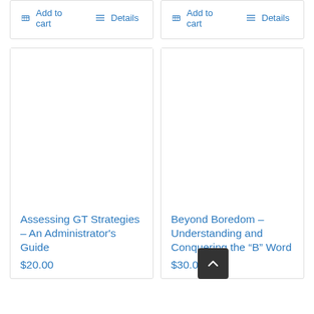[Figure (screenshot): Top portion showing two product card bottoms with Add to cart and Details buttons]
Add to cart
Details
Add to cart
Details
[Figure (screenshot): Product card for Assessing GT Strategies with blank image area]
Assessing GT Strategies – An Administrator's Guide
$20.00
[Figure (screenshot): Product card for Beyond Boredom – Understanding and Conquering the B Word with blank image area]
Beyond Boredom – Understanding and Conquering the "B" Word
$30.00